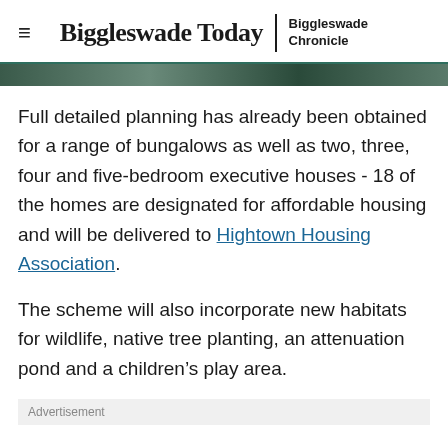Biggleswade Today | Biggleswade Chronicle
Full detailed planning has already been obtained for a range of bungalows as well as two, three, four and five-bedroom executive houses - 18 of the homes are designated for affordable housing and will be delivered to Hightown Housing Association.
The scheme will also incorporate new habitats for wildlife, native tree planting, an attenuation pond and a children's play area.
Advertisement